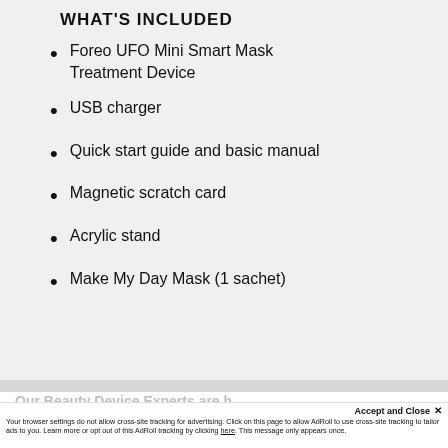WHAT'S INCLUDED
Foreo UFO Mini Smart Mask Treatment Device
USB charger
Quick start guide and basic manual
Magnetic scratch card
Acrylic stand
Make My Day Mask (1 sachet)
Our Beauty Device Experts are h...
Your browser settings do not allow cross-site tracking for advertising. Click on this page to allow AdRoll to use cross-site tracking to tailor ads to you. Learn more or opt out of this AdRoll tracking by clicking here. This message only appears once.